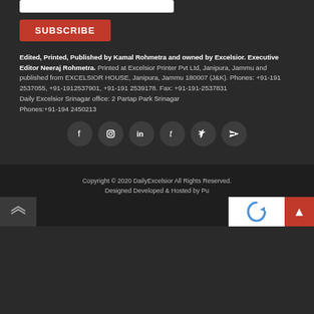[Figure (screenshot): Email address input field (white rectangle)]
[Figure (screenshot): Red SUBSCRIBE button]
Edited, Printed, Published by Kamal Rohmetra and owned by Excelsior. Executive Editor Neeraj Rohmetra. Printed at Excelsior Printer Pvt Ltd, Janipura, Jammu and published from EXCELSIOR HOUSE, Janipura, Jammu 180007 (J&K). Phones: +91-191 2537055, +91-1912537901, +91-191 2539178. Fax: +91-191-2537831 Daily Excelsior Srinagar office: 2 Partap Park Srinagar Phones:+91-194 2450213
[Figure (screenshot): Social media icons row: Facebook, Instagram, LinkedIn, Tumblr, Twitter, YouTube]
Copyright © 2020 DailyExcelsior All Rights Reserved.
Designed Developed & Hosted by Pu...